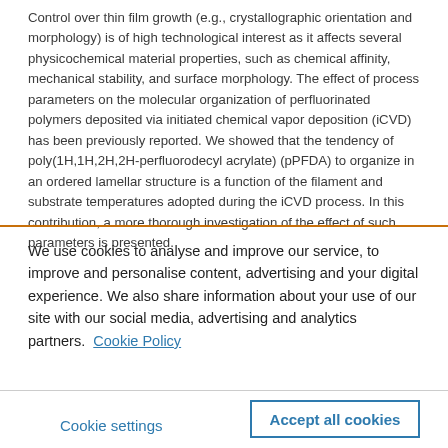Control over thin film growth (e.g., crystallographic orientation and morphology) is of high technological interest as it affects several physicochemical material properties, such as chemical affinity, mechanical stability, and surface morphology. The effect of process parameters on the molecular organization of perfluorinated polymers deposited via initiated chemical vapor deposition (iCVD) has been previously reported. We showed that the tendency of poly(1H,1H,2H,2H-perfluorodecyl acrylate) (pPFDA) to organize in an ordered lamellar structure is a function of the filament and substrate temperatures adopted during the iCVD process. In this contribution, a more thorough investigation of the effect of such parameters is presented.
We use cookies to analyse and improve our service, to improve and personalise content, advertising and your digital experience. We also share information about your use of our site with our social media, advertising and analytics partners.  Cookie Policy
Cookie settings
Accept all cookies